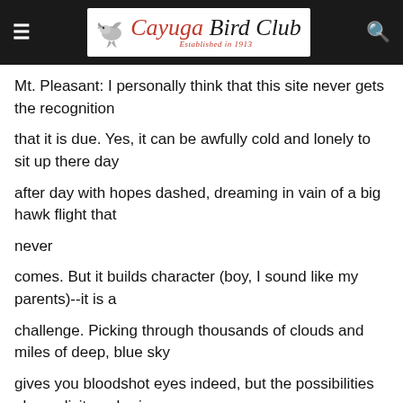Cayuga Bird Club — Established in 1913
Mt. Pleasant: I personally think that this site never gets the recognition that it is due. Yes, it can be awfully cold and lonely to sit up there day after day with hopes dashed, dreaming in vain of a big hawk flight that never comes. But it builds character (boy, I sound like my parents)--it is a challenge. Picking through thousands of clouds and miles of deep, blue sky gives you bloodshot eyes indeed, but the possibilities alone elicit euphoria (at least for me). I most certainly advise persistence (and a big supply of